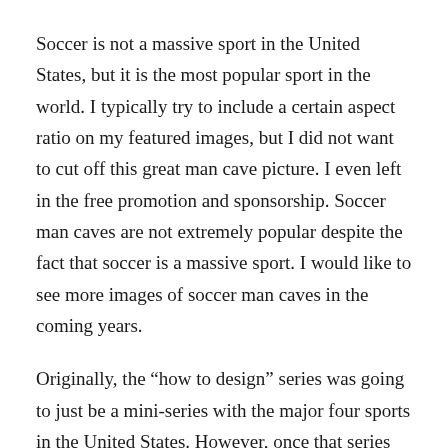Soccer is not a massive sport in the United States, but it is the most popular sport in the world. I typically try to include a certain aspect ratio on my featured images, but I did not want to cut off this great man cave picture. I even left in the free promotion and sponsorship. Soccer man caves are not extremely popular despite the fact that soccer is a massive sport. I would like to see more images of soccer man caves in the coming years.
Originally, the “how to design” series was going to just be a mini-series with the major four sports in the United States. However, once that series concluded, I wrote an article called “The Best 15 Man Cave Ideas.” In that